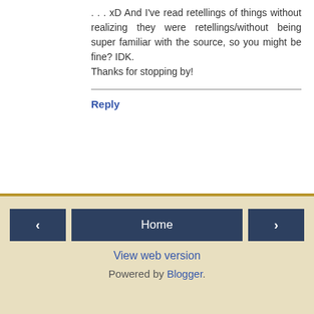. . . xD And I've read retellings of things without realizing they were retellings/without being super familiar with the source, so you might be fine? IDK.
Thanks for stopping by!
Reply
I'd love to hear your thoughts! But remember: it pays to be polite to dragons.
< | Home | > | View web version | Powered by Blogger.